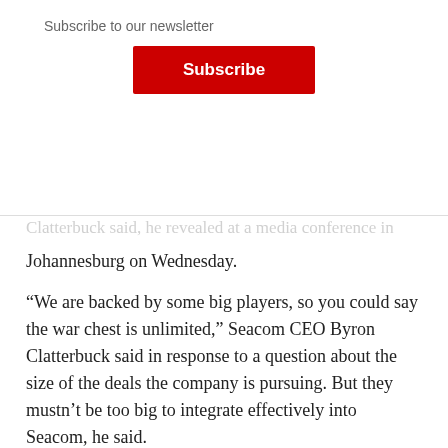Subscribe to our newsletter
Subscribe
Johannesburg on Wednesday.
“We are backed by some big players, so you could say the war chest is unlimited,” Seacom CEO Byron Clatterbuck said in response to a question about the size of the deals the company is pursuing. But they mustn’t be too big to integrate effectively into Seacom, he said.
Seacom’s shareholders are South African businesses Remgro (30%), Sanlam (15%), Convergence Partners (15%), Kenya’s Aga Khan Foundation (30%) and founder Brian Herlihy (10%).